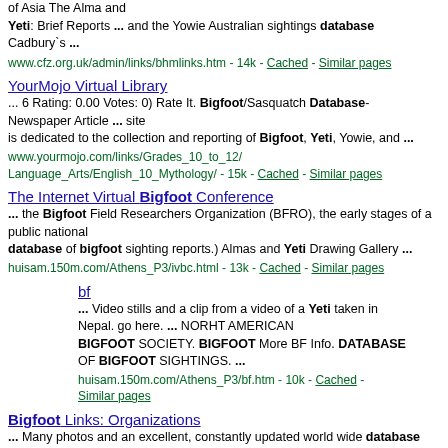of Asia The Alma and Yeti: Brief Reports ... and the Yowie Australian sightings database Cadbury`s ...
www.cfz.org.uk/admin/links/bhmlinks.htm - 14k - Cached - Similar pages
YourMojo Virtual Library
... 6 Rating: 0.00 Votes: 0) Rate It. Bigfoot/Sasquatch Database- Newspaper Article ... site is dedicated to the collection and reporting of Bigfoot, Yeti, Yowie, and ...
www.yourmojo.com/links/Grades_10_to_12/Language_Arts/English_10_Mythology/ - 15k - Cached - Similar pages
The Internet Virtual Bigfoot Conference
... the Bigfoot Field Researchers Organization (BFRO), the early stages of a public national database of bigfoot sighting reports.) Almas and Yeti Drawing Gallery ...
huisam.150m.com/Athens_P3/ivbc.html - 13k - Cached - Similar pages
bf
... Video stills and a clip from a video of a Yeti taken in Nepal. go here. ... NORHT AMERICAN BIGFOOT SOCIETY. BIGFOOT More BF Info. DATABASE OF BIGFOOT SIGHTINGS. ...
huisam.150m.com/Athens_P3/bf.htm - 10k - Cached - Similar pages
Bigfoot Links: Organizations
... Many photos and an excellent, constantly updated world wide database of Bigfoot ... A
Site dedicated to the collection and reporting of Bigfoot, Yeti, Yowie, and